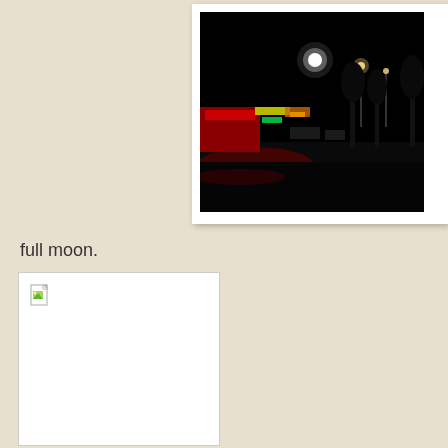[Figure (photo): Night time street scene photograph. Dark image showing a city street at night with a bright light (full moon or street lamp) visible in the upper center of the frame, colorful neon signs from shops along the left side (red, yellow, green), street lights, and trees silhouetted on the right. The scene is mostly dark with lights reflecting on the road surface. Photo is mounted in a white frame/mat with a slight shadow.]
full moon.
[Figure (photo): A second image placeholder showing a broken/missing image icon (document with torn corner) in the top-left corner on a white background, indicating a failed image load.]